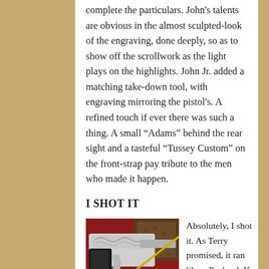complete the particulars. John's talents are obvious in the almost sculpted-look of the engraving, done deeply, so as to show off the scrollwork as the light plays on the highlights. John Jr. added a matching take-down tool, with engraving mirroring the pistol's. A refined touch if ever there was such a thing. A small “Adams” behind the rear sight and a tasteful “Tussey Custom” on the front-strap pay tribute to the men who made it happen.
I SHOT IT
[Figure (photo): Close-up photograph of an engraved pistol with ornate scrollwork, alongside a take-down tool, resting on a red surface with decorative leather.]
Absolutely, I shot it. As Terry promised, it ran like a Packard. If you’ve ever started the engine on a 1936